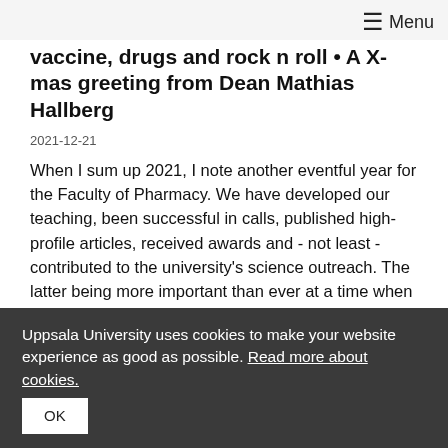≡ Menu
vaccine, drugs and rock n roll • A X-mas greeting from Dean Mathias Hallberg
2021-12-21
When I sum up 2021, I note another eventful year for the Faculty of Pharmacy. We have developed our teaching, been successful in calls, published high-profile articles, received awards and - not least - contributed to the university's science outreach. The latter being more important than ever at a time when pharmaceutical drugs are on everyone's mind.
They won the Faculty's X-mas gift competition
Uppsala University uses cookies to make your website experience as good as possible. Read more about cookies.